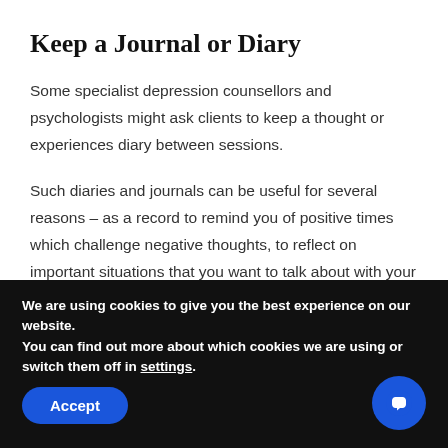Keep a Journal or Diary
Some specialist depression counsellors and psychologists might ask clients to keep a thought or experiences diary between sessions.
Such diaries and journals can be useful for several reasons – as a record to remind you of positive times which challenge negative thoughts, to reflect on important situations that you want to talk about with your counsellor or psychologist, and to allow you to
We are using cookies to give you the best experience on our website.
You can find out more about which cookies we are using or switch them off in settings.
Accept